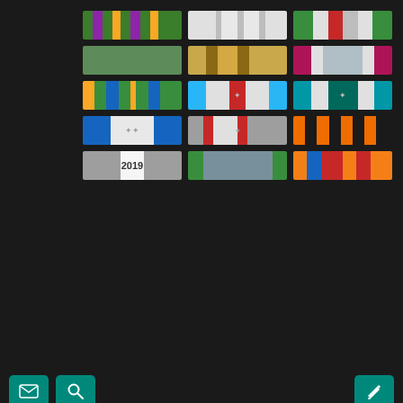[Figure (illustration): Grid of military ribbon medals/decorations displayed on dark background, arranged in 5 rows of 3 ribbons each. Various colored ribbons with different stripe patterns. Some ribbons have metal emblems. One ribbon shows '2019'.]
[Figure (screenshot): Forum toolbar with teal email icon button, teal search/magnifier icon button on left, and teal pencil/edit icon button on right, on dark background.]
[Figure (photo): Military forum profile photo showing olive green badge/emblem with lion figure and text 'RET' at bottom.]
R. Mark
Posts: 528
Threads: 132
Joined: Mar 2019
Enlistment: 16/03/2019
18-03-2021, 11:16 AM
#3
Where was I? I was being personally attacked by an MLRS